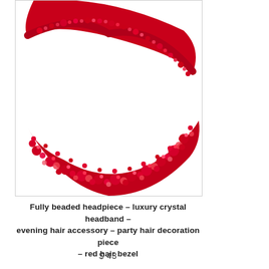[Figure (photo): Close-up photo of a fully beaded red headband/headpiece with crystal and pearl beads densely covering the band, shown against a white background.]
Fully beaded headpiece – luxury crystal headband – evening hair accessory – party hair decoration piece – red hair bezel
$ 43